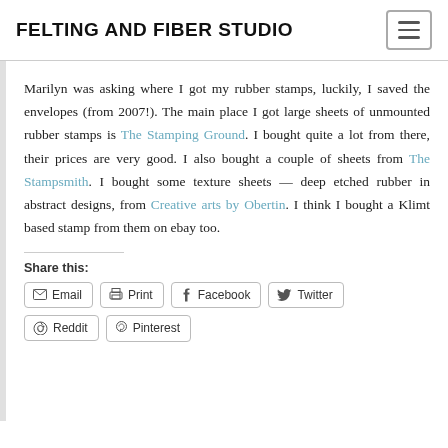FELTING AND FIBER STUDIO
Marilyn was asking where I got my rubber stamps, luckily, I saved the envelopes (from 2007!). The main place I got large sheets of unmounted rubber stamps is The Stamping Ground. I bought quite a lot from there, their prices are very good. I also bought a couple of sheets from The Stampsmith. I bought some texture sheets — deep etched rubber in abstract designs, from Creative arts by Obertin. I think I bought a Klimt based stamp from them on ebay too.
Share this:
Email
Print
Facebook
Twitter
Reddit
Pinterest